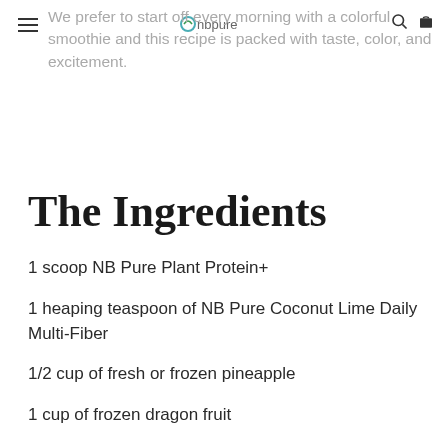cnbpure
We prefer to start off every morning with a colorful smoothie and this recipe is packed with taste, color, and excitement.
The Ingredients
1 scoop NB Pure Plant Protein+
1 heaping teaspoon of NB Pure Coconut Lime Daily Multi-Fiber
1/2 cup of fresh or frozen pineapple
1 cup of frozen dragon fruit
1/4 cup of Apple Juice